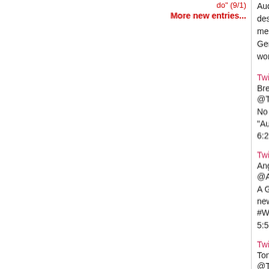do" (9/1)
More new entries...
Audi AG (German: [ˈʔaʊdi: ˈʔaːˈɡeː]) is a German... designs, engineers, produces, markets and distributes... member of the Volkswagen Group and has its roots in... Germany. Audi-branded vehicles are produced in numerous locations worldwide.
Twitter
Brendan
@TricoBren
No joke but I just saw a Texan walk into a German... "Audi!"
6:21 AM - 4 Jul 2012
Twitter
Angus
@AngusDoodall
A German car manufacturer has teamed up with th... new car. They are now official #Audi partners. #WastedHere
5:56 AM - 14 Aug 2014
Twitter
Tony Cowards
@TonyCowards
If I owned a German car dealership in Texas I wou...